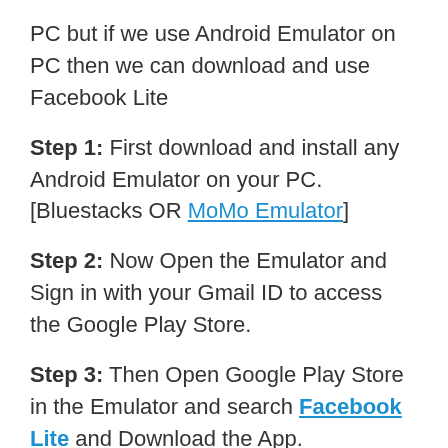PC but if we use Android Emulator on PC then we can download and use Facebook Lite
Step 1: First download and install any Android Emulator on your PC. [Bluestacks OR MoMo Emulator]
Step 2: Now Open the Emulator and Sign in with your Gmail ID to access the Google Play Store.
Step 3: Then Open Google Play Store in the Emulator and search Facebook Lite and Download the App.